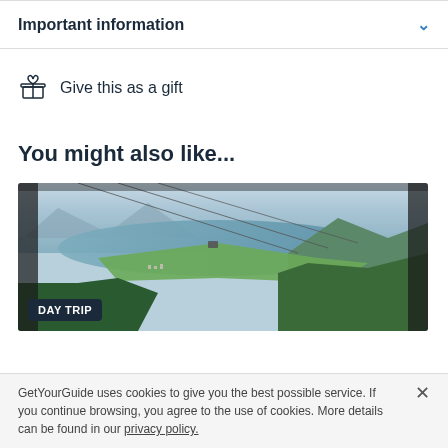Important information
Give this as a gift
You might also like...
[Figure (photo): Aerial view from a cable car showing a lake surrounded by green mountains and valleys, with cable car wires visible. A 'DAY TRIP' badge is overlaid in the bottom left corner.]
GetYourGuide uses cookies to give you the best possible service. If you continue browsing, you agree to the use of cookies. More details can be found in our privacy policy.